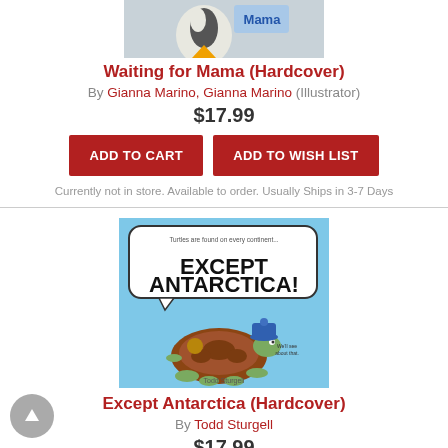[Figure (photo): Top portion of book cover for Waiting for Mama, showing a penguin illustration]
Waiting for Mama (Hardcover)
By Gianna Marino, Gianna Marino (Illustrator)
$17.99
ADD TO CART
ADD TO WISH LIST
Currently not in store. Available to order. Usually Ships in 3-7 Days
[Figure (photo): Book cover for Except Antarctica showing a turtle wearing a blue hat with a speech bubble saying EXCEPT ANTARCTICA!]
Except Antarctica (Hardcover)
By Todd Sturgell
$17.99